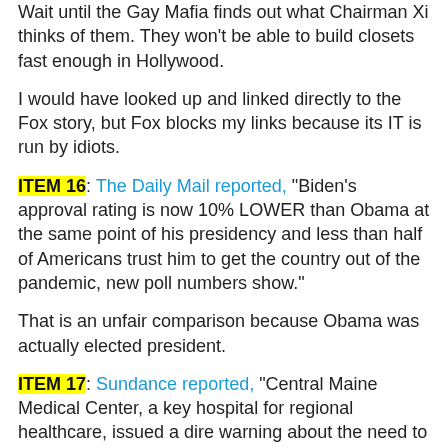Wait until the Gay Mafia finds out what Chairman Xi thinks of them. They won't be able to build closets fast enough in Hollywood.
I would have looked up and linked directly to the Fox story, but Fox blocks my links because its IT is run by idiots.
ITEM 16: The Daily Mail reported, "Biden's approval rating is now 10% LOWER than Obama at the same point of his presidency and less than half of Americans trust him to get the country out of the pandemic, new poll numbers show."
That is an unfair comparison because Obama was actually elected president.
ITEM 17: Sundance reported, "Central Maine Medical Center, a key hospital for regional healthcare, issued a dire warning about the need to shut down critical care services last week if they are forced to fire or lay-off all the unvaccinated workers. The hospital appealed to the Governor's office, Democrat Janet Mills, for a testing option to avoid losing some of the most important care providers in their system."